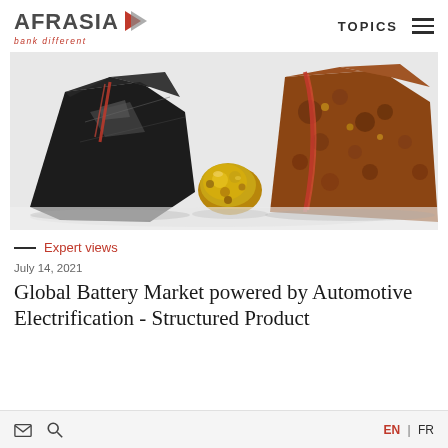AFRASIA bank different | TOPICS
[Figure (photo): Close-up photograph of raw minerals: dark graphite/manganese ore on the left, a gold nugget in the center, and reddish-brown copper/iron ore on the right, arranged on a light background with red accents]
— Expert views
July 14, 2021
Global Battery Market powered by Automotive Electrification - Structured Product
EN | FR